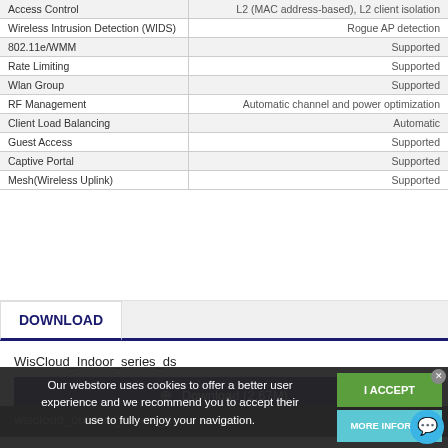| Feature | Description |
| --- | --- |
| Access Control | L2 (MAC address-based), L2 client isolation |
| Wireless Intrusion Detection (WIDS) | Rogue AP detection |
| 802.11e/WMM | Supported |
| Rate Limiting | Supported |
| Wlan Group | Supported |
| RF Management | Automatic channel and power optimization |
| Client Load Balancing | Automatic |
| Guest Access | Supported |
| Captive Portal | Supported |
| Mesh(Wireless Uplink) | Supported |
DOWNLOAD
WisCloud_Indoor_series_ds
⊕ Download (2.67M)
wiscloud_outdoor_series_ds
⊕ Download (2.33M)
Our webstore uses cookies to offer a better user experience and we recommend you to accept their use to fully enjoy your navigation.